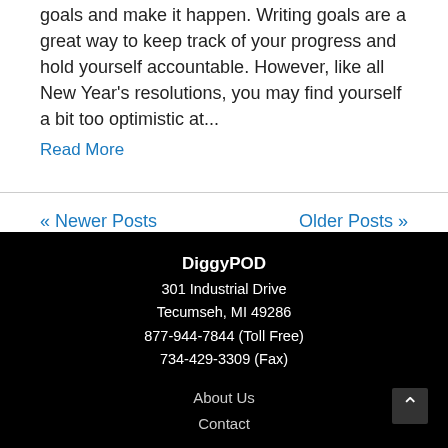goals and make it happen. Writing goals are a great way to keep track of your progress and hold yourself accountable. However, like all New Year's resolutions, you may find yourself a bit too optimistic at...
Read More
« Newer Posts
Older Posts »
DiggyPOD
301 Industrial Drive
Tecumseh, MI 49286
877-944-7844 (Toll Free)
734-429-3309 (Fax)
About Us
Contact